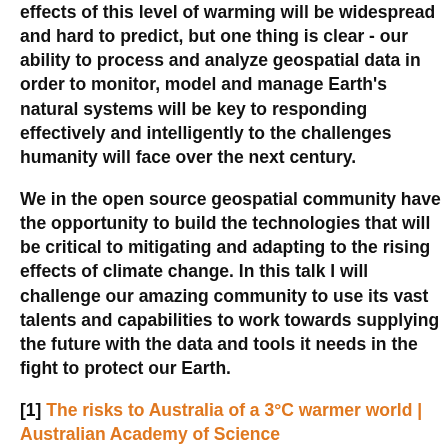effects of this level of warming will be widespread and hard to predict, but one thing is clear - our ability to process and analyze geospatial data in order to monitor, model and manage Earth's natural systems will be key to responding effectively and intelligently to the challenges humanity will face over the next century.
We in the open source geospatial community have the opportunity to build the technologies that will be critical to mitigating and adapting to the rising effects of climate change. In this talk I will challenge our amazing community to use its vast talents and capabilities to work towards supplying the future with the data and tools it needs in the fight to protect our Earth.
[1] The risks to Australia of a 3°C warmer world | Australian Academy of Science